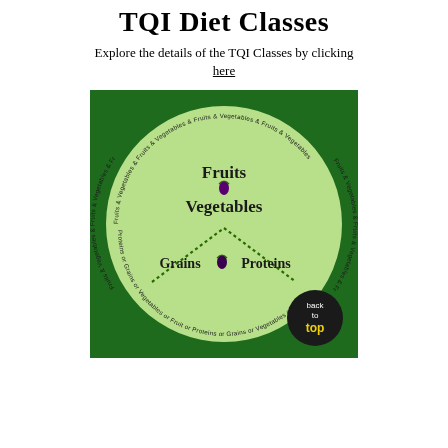TQI Diet Classes
Explore the details of the TQI Classes by clicking here
[Figure (infographic): TQI Diet Classes circular diagram on dark green background. A large light green circle contains text 'Fruits' at top center with a small eggplant icon, 'Vegetables' below it, and 'Grains' and 'Proteins' at the lower left and right respectively with small eggplant icons. Dotted green lines form a triangle/chevron shape separating upper and lower sections. Around the outer border of the circle, repeating text reads 'Fruits & Vegetables & Fruits & Vegetables' on the top arc and 'Proteins or Grains or Vegetables or Fruit or Proteins or Grains' on the bottom arc. A black circular button in the bottom right reads 'back to top' in yellow and white text.]